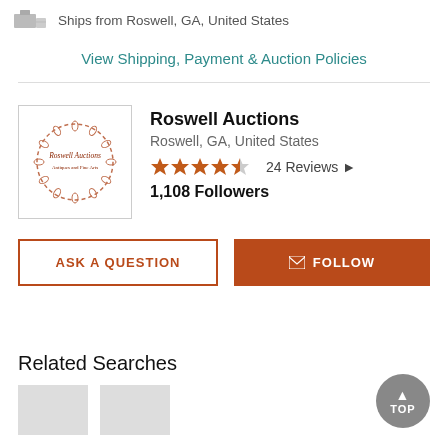Ships from Roswell, GA, United States
View Shipping, Payment & Auction Policies
Roswell Auctions
Roswell, GA, United States
24 Reviews
1,108 Followers
ASK A QUESTION
FOLLOW
Related Searches